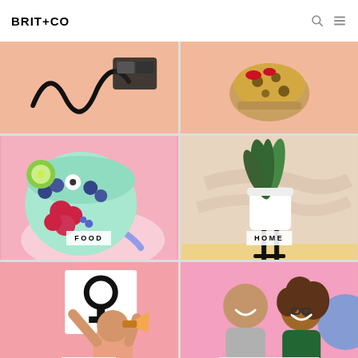BRIT+CO
[Figure (screenshot): Brit+Co website screenshot showing category navigation grid with food, home, issues, and relationships sections]
FOOD
HOME
ISSUES
RELATIONSHIPS